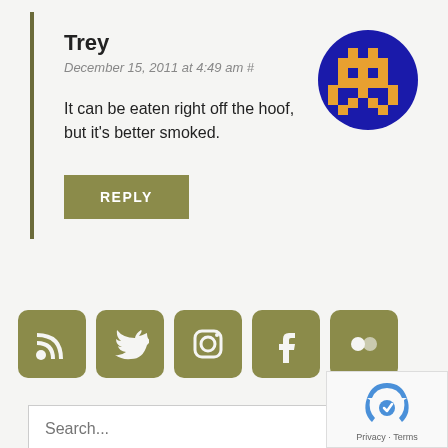Trey
December 15, 2011 at 4:49 am #
[Figure (illustration): Pixel art avatar: dark blue circle with orange pixelated character in center]
It can be eaten right off the hoof, but it's better smoked.
REPLY
[Figure (infographic): Row of 5 social media icons (RSS, Twitter, Instagram, Facebook, Flickr) in olive/dark yellow square rounded buttons]
Search...